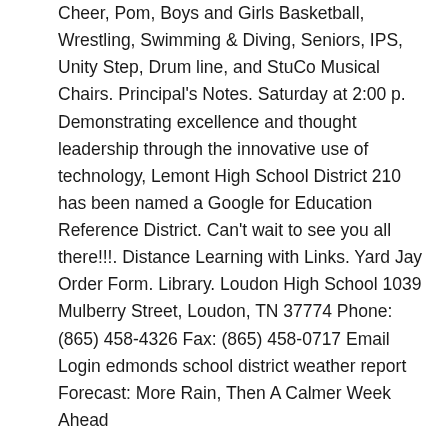Cheer, Pom, Boys and Girls Basketball, Wrestling, Swimming & Diving, Seniors, IPS, Unity Step, Drum line, and StuCo Musical Chairs. Principal's Notes. Saturday at 2:00 p. Demonstrating excellence and thought leadership through the innovative use of technology, Lemont High School District 210 has been named a Google for Education Reference District. Can't wait to see you all there!!!. Distance Learning with Links. Yard Jay Order Form. Library. Loudon High School 1039 Mulberry Street, Loudon, TN 37774 Phone: (865) 458-4326 Fax: (865) 458-0717 Email Login edmonds school district weather report Forecast: More Rain, Then A Calmer Week Ahead